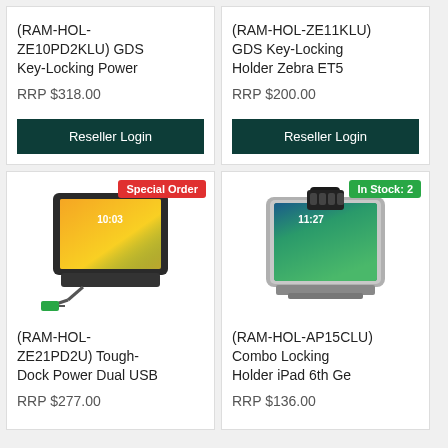(RAM-HOL-ZE10PD2KLU) GDS Key-Locking Power
RRP $318.00
Reseller Login
(RAM-HOL-ZE11KLU) GDS Key-Locking Holder Zebra ET5
RRP $200.00
Reseller Login
Special Order
[Figure (photo): RAM-HOL-ZE21PD2U Tough-Dock Power Dual USB device holder with tablet and cable]
(RAM-HOL-ZE21PD2U) Tough-Dock Power Dual USB
RRP $277.00
In Stock: 2
[Figure (photo): RAM-HOL-AP15CLU Combo Locking Holder iPad 6th Generation with combination lock]
(RAM-HOL-AP15CLU) Combo Locking Holder iPad 6th Ge
RRP $136.00